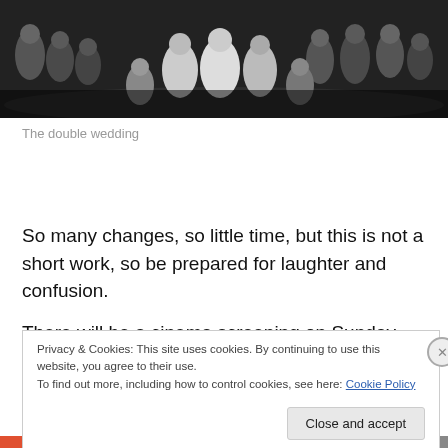[Figure (photo): Group of people in formal attire on a stage, appearing to be a theatrical production — the double wedding scene]
The double wedding
So many changes, so little time, but this is not a short work, so be prepared for laughter and confusion.
There will be a cinema screening on Sunday, July 22, and
Privacy & Cookies: This site uses cookies. By continuing to use this website, you agree to their use.
To find out more, including how to control cookies, see here: Cookie Policy
Close and accept